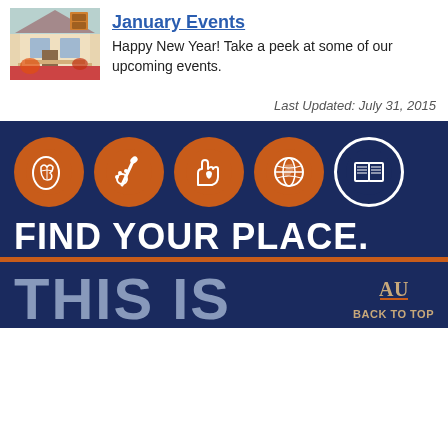[Figure (photo): Thumbnail photo of a colorful house with a porch, orange and red flowers]
January Events
Happy New Year! Take a peek at some of our upcoming events.
Last Updated: July 31, 2015
[Figure (infographic): Auburn University 'Find Your Place' banner with five orange circles containing icons: brain/head, paintbrush/palette, hand with heart, globe, open book. Text reads FIND YOUR PLACE. Below is THIS IS with Auburn logo and BACK TO TOP.]